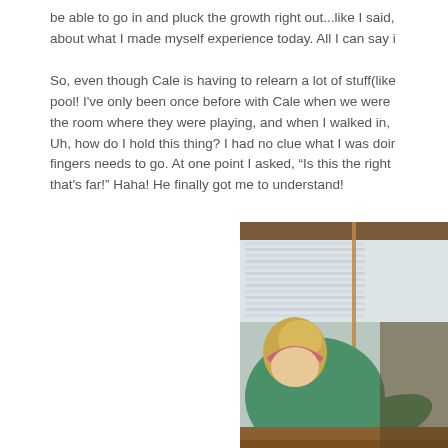be able to go in and pluck the growth right out...like I said, about what I made myself experience today. All I can say i

So, even though Cale is having to relearn a lot of stuff(like pool! I've only been once before with Cale when we were the room where they were playing, and when I walked in, Uh, how do I hold this thing? I had no clue what I was doir fingers needs to go. At one point I asked, "Is this the right that's far!" Haha! He finally got me to understand!
[Figure (photo): A person with blonde hair wearing a green long-sleeve shirt and pink headband, leaning over a pool table holding a pool cue, photographed in a room with windows and blinds in the background.]